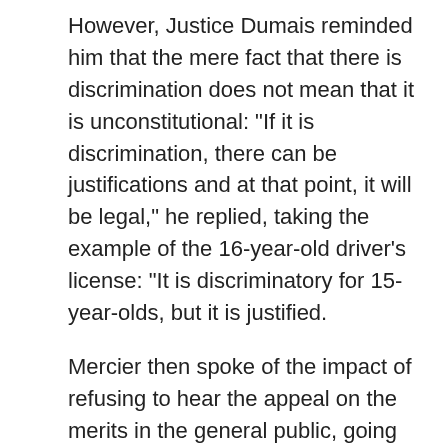However, Justice Dumais reminded him that the mere fact that there is discrimination does not mean that it is unconstitutional: "If it is discrimination, there can be justifications and at that point, it will be legal," he replied, taking the example of the 16-year-old driver's license: "It is discriminatory for 15-year-olds, but it is justified.
Mercier then spoke of the impact of refusing to hear the appeal on the merits in the general public, going so far as to bring the judge's words back to the table.
"There is going to be a social cost if the court says, 'I won't take this on. People are going to lose confidence in the justice system and then, in effect, start taking the law into their own